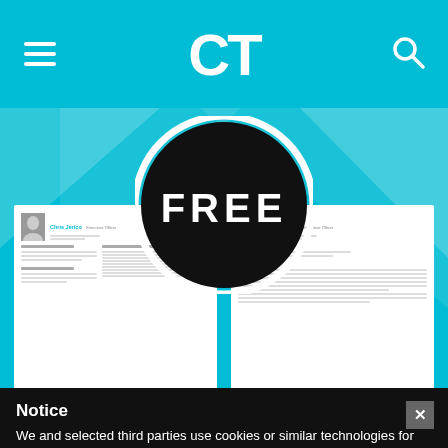CT
[Figure (illustration): Promotional image showing a 'FREE' badge (black circle with white bold text) over a teal background, with two white resume/CV document pages below it, showing a profile named Chris Jerico]
Notice
We and selected third parties use cookies or similar technologies for technical purposes and, with your consent, for other purposes as specified in the cookie policy. Denying consent may make related features unavailable.
You can consent to the use of such technologies by closing this notice, by scrolling this page, by interacting with any link or button outside of this notice or by continuing to browse otherwise.